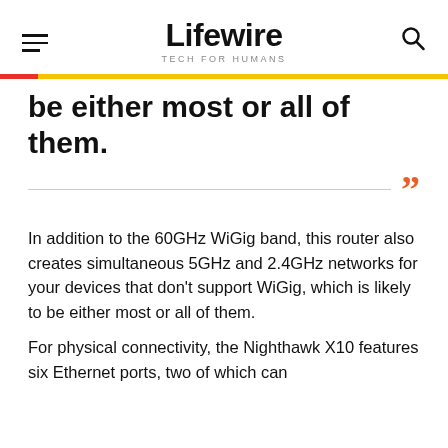Lifewire TECH FOR HUMANS
be either most or all of them.
In addition to the 60GHz WiGig band, this router also creates simultaneous 5GHz and 2.4GHz networks for your devices that don't support WiGig, which is likely to be either most or all of them.
For physical connectivity, the Nighthawk X10 features six Ethernet ports, two of which can